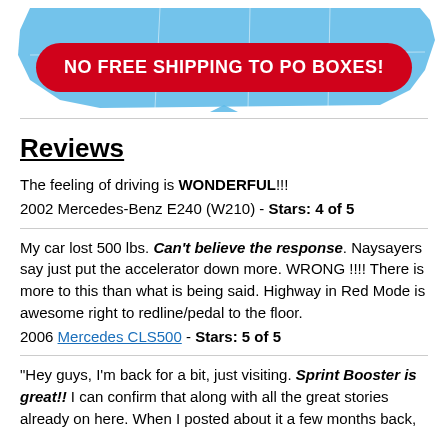[Figure (infographic): Blue US map background with a red rounded badge reading 'NO FREE SHIPPING TO PO BOXES!']
Reviews
The feeling of driving is WONDERFUL!!!
2002 Mercedes-Benz E240 (W210) - Stars: 4 of 5
My car lost 500 lbs. Can't believe the response. Naysayers say just put the accelerator down more. WRONG !!!! There is more to this than what is being said. Highway in Red Mode is awesome right to redline/pedal to the floor.
2006 Mercedes CLS500 - Stars: 5 of 5
"Hey guys, I'm back for a bit, just visiting. Sprint Booster is great!! I can confirm that along with all the great stories already on here. When I posted about it a few months back,